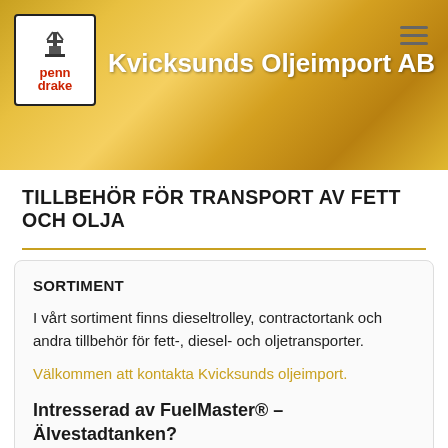[Figure (screenshot): Website header banner with golden/yellow oil texture background, Penn Drake logo in white box on left, company name 'Kvicksunds Oljeimport AB' in white bold text, hamburger menu icon top right]
TILLBEHÖR FÖR TRANSPORT AV FETT OCH OLJA
SORTIMENT
I vårt sortiment finns dieseltrolley, contractortank och andra tillbehör för fett-, diesel- och oljetransporter.
Välkommen att kontakta Kvicksunds oljeimport.
Intresserad av FuelMaster® – Älvestadtanken?